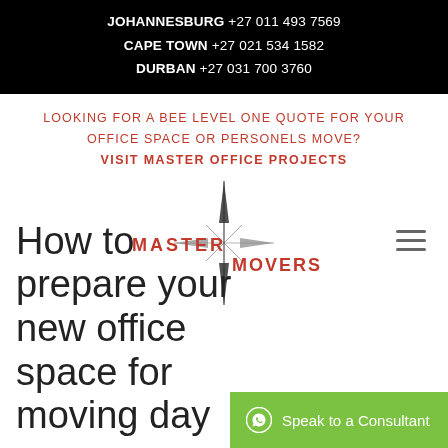JOHANNESBURG +27 011 493 7569
CAPE TOWN +27 021 534 1582
DURBAN +27 031 700 3760
LOOKING FOR A BEE LEVEL ONE QUOTE FOR YOUR OFFICE SPACE OR PERSONELS MOVE?
VISIT MASTER OFFICE PROJECTS
[Figure (logo): Master Movers logo with compass/arrow graphic and red text]
How to prepare your new office space for moving day
Speak to a Consultant